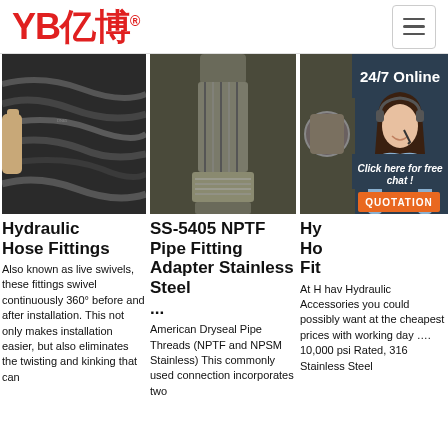YB亿博® — navigation header with hamburger menu
[Figure (photo): Hydraulic hoses bundled together, dark background]
Hydraulic Hose Fittings
Also known as live swivels, these fittings swivel continuously 360° before and after installation. This not only makes installation easier, but also eliminates the twisting and kinking that can
[Figure (photo): SS-5405 NPTF Pipe Fitting Adapter in stainless steel]
SS-5405 NPTF Pipe Fitting Adapter Stainless Steel
...
American Dryseal Pipe Threads (NPTF and NPSM Stainless) This commonly used connection incorporates two
[Figure (photo): Hydraulic fitting/hose product image with 24/7 Online customer service overlay, agent photo, chat bubble and QUOTATION button]
Hy Ho Fit
At H hav Hydraulic Accessories you could possibly want at the cheapest prices with working day …. 10,000 psi Rated, 316 Stainless Steel